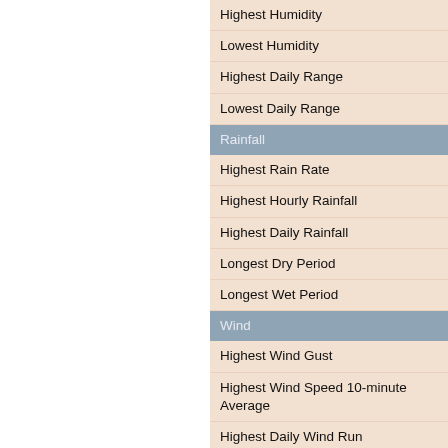Highest Humidity
Lowest Humidity
Highest Daily Range
Lowest Daily Range
Rainfall
Highest Rain Rate
Highest Hourly Rainfall
Highest Daily Rainfall
Longest Dry Period
Longest Wet Period
Wind
Highest Wind Gust
Highest Wind Speed 10-minute Average
Highest Daily Wind Run
Pressure
Lowest Pressure (sl)
Highest Pressure (sl)
:now::gauges::today::yesterday::this mon
page updated 01/09/2022 23:49:00
powered by cumulus v1.9.4 (1099)